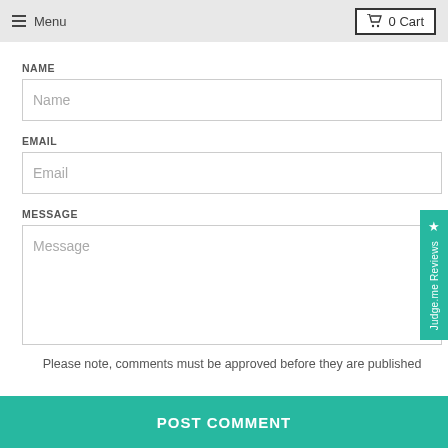Menu  0 Cart
NAME
Name
EMAIL
Email
MESSAGE
Message
Please note, comments must be approved before they are published
POST COMMENT